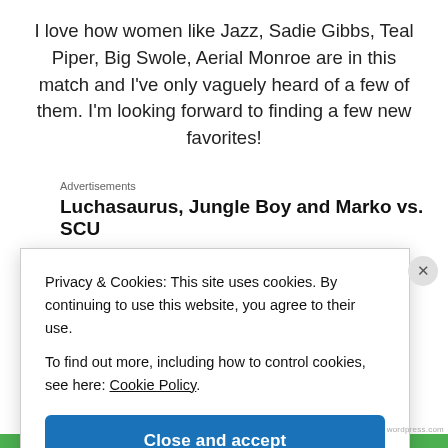I love how women like Jazz, Sadie Gibbs, Teal Piper, Big Swole, Aerial Monroe are in this match and I've only vaguely heard of a few of them. I'm looking forward to finding a few new favorites!
Advertisements
Luchasaurus, Jungle Boy and Marko vs. SCU
Privacy & Cookies: This site uses cookies. By continuing to use this website, you agree to their use.
To find out more, including how to control cookies, see here: Cookie Policy
Close and accept